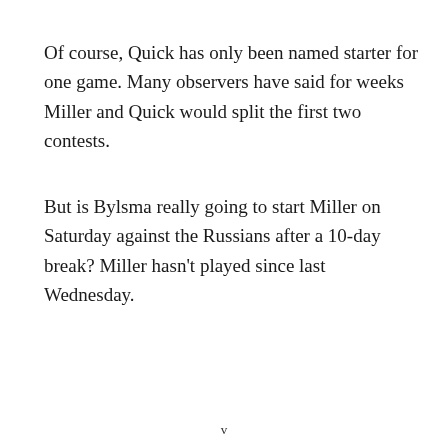Of course, Quick has only been named starter for one game. Many observers have said for weeks Miller and Quick would split the first two contests.
But is Bylsma really going to start Miller on Saturday against the Russians after a 10-day break? Miller hasn't played since last Wednesday.
v